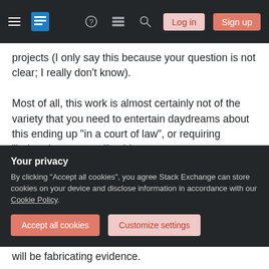Stack Exchange navigation bar with hamburger menu, logo, help, chat, search icons, Log in and Sign up buttons
projects (I only say this because your question is not clear; I really don't know).

Most of all, this work is almost certainly not of the variety that you need to entertain daydreams about this ending up "in a court of law", or requiring "juriprudence-tested" evidence, as one comment suggested. If this is patentable software, you should talk to your institution's IP office. Otherwise, this just isn't going to be such a big deal. Lawyers will not be getting involved. The very most dramatic scenario I
Your privacy
By clicking "Accept all cookies", you agree Stack Exchange can store cookies on your device and disclose information in accordance with our Cookie Policy.
will be fabricating evidence.